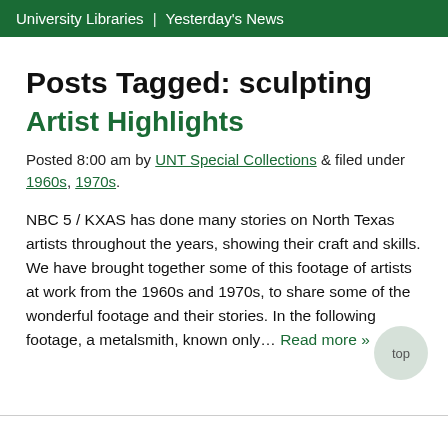University Libraries | Yesterday's News
Posts Tagged: sculpting
Artist Highlights
Posted 8:00 am by UNT Special Collections & filed under 1960s, 1970s.
NBC 5 / KXAS has done many stories on North Texas artists throughout the years, showing their craft and skills. We have brought together some of this footage of artists at work from the 1960s and 1970s, to share some of the wonderful footage and their stories. In the following footage, a metalsmith, known only… Read more »